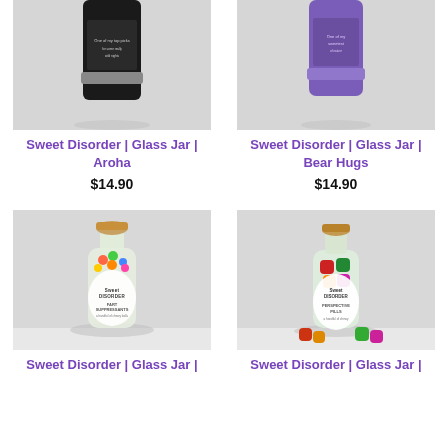[Figure (photo): Photo of a dark/black glass jar with silver band and label, partially cropped at top]
[Figure (photo): Photo of a purple glass jar with label, partially cropped at top]
Sweet Disorder | Glass Jar | Aroha
$14.90
Sweet Disorder | Glass Jar | Bear Hugs
$14.90
[Figure (photo): Photo of a clear glass apothecary bottle with copper/cork lid filled with colorful sprinkle candies, labeled Fart Suppressants]
[Figure (photo): Photo of a clear glass apothecary bottle with cork lid filled with colorful gummy candies, labeled Perspective Pills, with loose gummies in front]
Sweet Disorder | Glass Jar |
Sweet Disorder | Glass Jar |